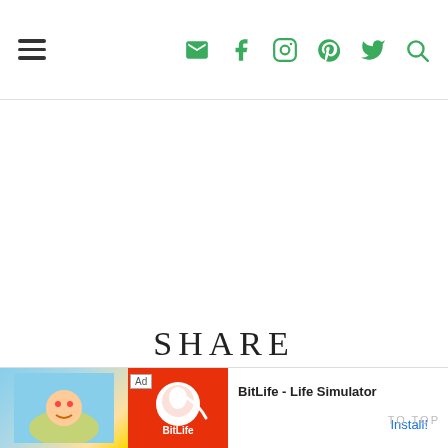Navigation header with hamburger menu and social icons: email, facebook, instagram, pinterest, twitter, search
SHARE
[Figure (screenshot): Advertisement banner for BitLife - Life Simulator app with Ad label, cartoon character image on left, BitLife logo on right, Install button]